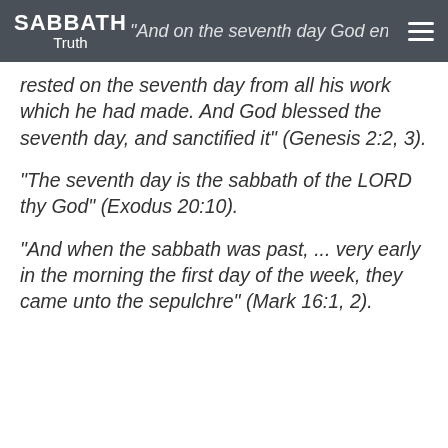SABBATH Truth
rested on the seventh day from all his work which he had made. And God blessed the seventh day, and sanctified it” (Genesis 2:2, 3).
“The seventh day is the sabbath of the LORD thy God” (Exodus 20:10).
“And when the sabbath was past, … very early in the morning the first day of the week, they came unto the sepulchre” (Mark 16:1, 2).